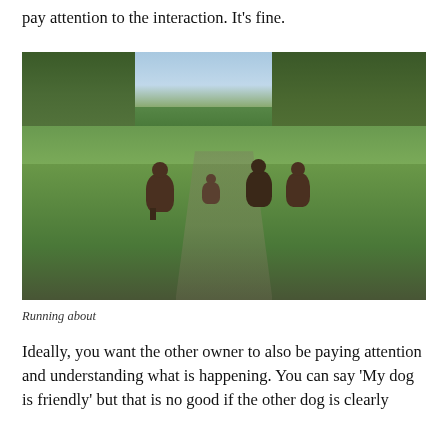pay attention to the interaction. It's fine.
[Figure (photo): Four border collie dogs running across a green grassy field toward the camera. Trees line the background under an open sky.]
Running about
Ideally, you want the other owner to also be paying attention and understanding what is happening. You can say 'My dog is friendly' but that is no good if the other dog is clearly